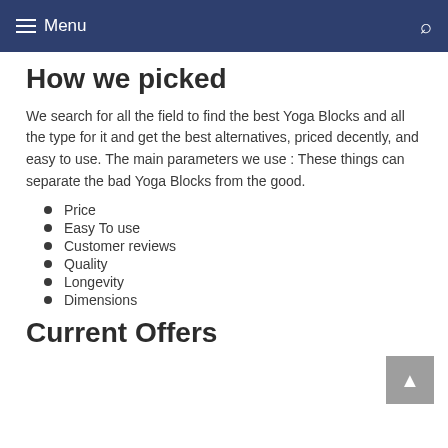Menu
How we picked
We search for all the field to find the best Yoga Blocks and all the type for it and get the best alternatives, priced decently, and easy to use. The main parameters we use : These things can separate the bad Yoga Blocks from the good.
Price
Easy To use
Customer reviews
Quality
Longevity
Dimensions
Current Offers